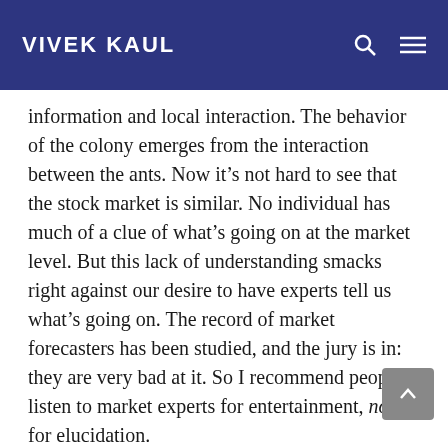VIVEK KAUL
information and local interaction. The behavior of the colony emerges from the interaction between the ants. Now it’s not hard to see that the stock market is similar. No individual has much of a clue of what’s going on at the market level. But this lack of understanding smacks right against our desire to have experts tell us what’s going on. The record of market forecasters has been studied, and the jury is in: they are very bad at it. So I recommend people listen to market experts for entertainment, not for elucidation.
How does the media influence investment